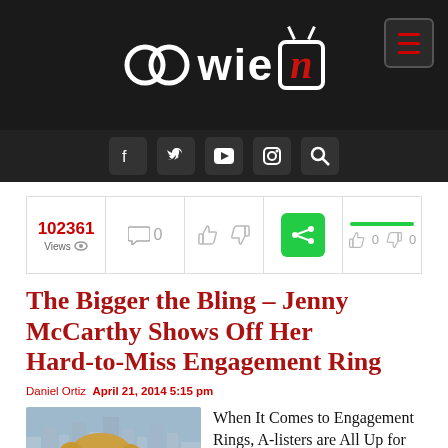[Figure (logo): oowie TV logo on dark background with menu hamburger button]
[Figure (infographic): Social media navigation bar with Facebook, Twitter, YouTube, Instagram, Search icons]
[Figure (infographic): Stats bar showing 102361 Views, 0 comments, thumbs up/down, green share button, rating bar with 0/0]
The Bigger the Bling – Jenny McCarthy Shows Off Her Hard-to-Miss Engagement Ring
Daniel Ortiz  April 21, 2014 5:15 pm
[Figure (photo): Photo of blonde woman with city skyline in background]
When It Comes to Engagement Rings, A-listers are All Up for Bigger and Bolder this Year Engagement, wedding, or divorce,